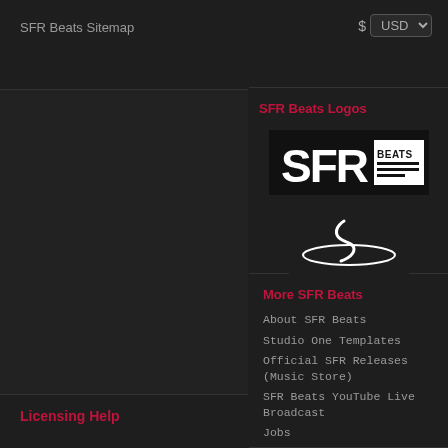SFR Beats Sitemap
$ USD
SFR Beats Logos
[Figure (logo): SFR BEATS rectangular text logo in white on black background]
[Figure (logo): SFR Beats circular orbit logo in white on dark background]
More SFR Beats
About SFR Beats
Studio One Templates
Official SFR Releases (Music Store)
SFR Beats YouTube Live Broadcast
Jobs
Licensing Help